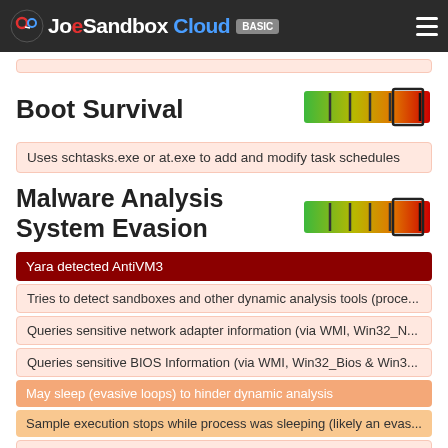JoeSandbox Cloud BASIC
Boot Survival
[Figure (infographic): Severity meter showing green to red gradient with highlighted orange-red segment for Boot Survival]
Uses schtasks.exe or at.exe to add and modify task schedules
Malware Analysis System Evasion
[Figure (infographic): Severity meter showing green to red gradient with highlighted orange-red segment for Malware Analysis System Evasion]
Yara detected AntiVM3
Tries to detect sandboxes and other dynamic analysis tools (proce...
Queries sensitive network adapter information (via WMI, Win32_N...
Queries sensitive BIOS Information (via WMI, Win32_Bios & Win3...
May sleep (evasive loops) to hinder dynamic analysis
Sample execution stops while process was sleeping (likely an evas...
Contains long sleeps (>= 3 min)